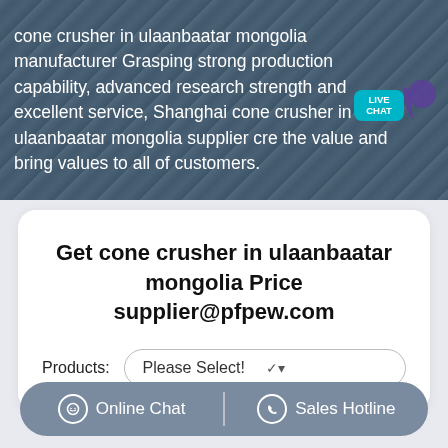[Figure (photo): Mining/quarry aerial photo background with text overlay showing cone crusher product description]
cone crusher in ulaanbaatar mongolia manufacturer Grasping strong production capability, advanced research strength and excellent service, Shanghai cone crusher in ulaanbaatar mongolia supplier cre the value and bring values to all of customers.
Get cone crusher in ulaanbaatar mongolia Price supplier@pfpew.com
Products: Please Select!
Online Chat  Sales Hotline